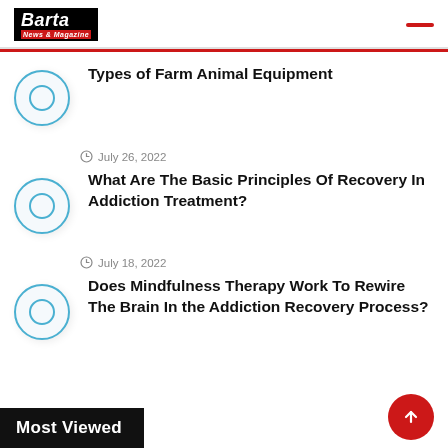Barta News & Magazine
Types of Farm Animal Equipment
July 26, 2022
What Are The Basic Principles Of Recovery In Addiction Treatment?
July 18, 2022
Does Mindfulness Therapy Work To Rewire The Brain In the Addiction Recovery Process?
Most Viewed